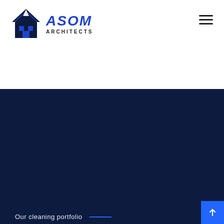[Figure (logo): ASOM Architects logo with house/roof icon and blue bold italic ASOM text with ARCHITECTS subtitle]
[Figure (other): Hamburger menu icon with three horizontal lines]
Our cleaning portfolio
You can check portfolio to check quality.
We shows only the best websites and portfolios built